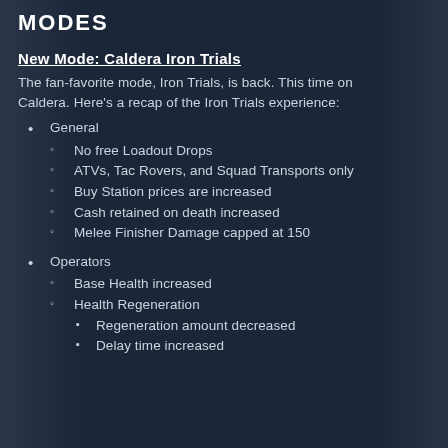MODES
New Mode: Caldera Iron Trials
The fan-favorite mode, Iron Trials, is back. This time on Caldera. Here's a recap of the Iron Trials experience:
General
No free Loadout Drops
ATVs, Tac Rovers, and Squad Transports only
Buy Station prices are increased
Cash retained on death increased
Melee Finisher Damage capped at 150
Operators
Base Health increased
Health Regeneration
Regeneration amount decreased
Delay time increased